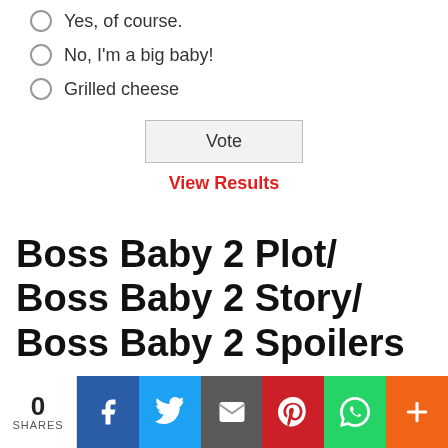Yes, of course.
No, I'm a big baby!
Grilled cheese
Vote
View Results
Boss Baby 2 Plot/ Boss Baby 2 Story/ Boss Baby 2 Spoilers
0 SHARES | Facebook | Twitter | Email | Pinterest | WhatsApp | More